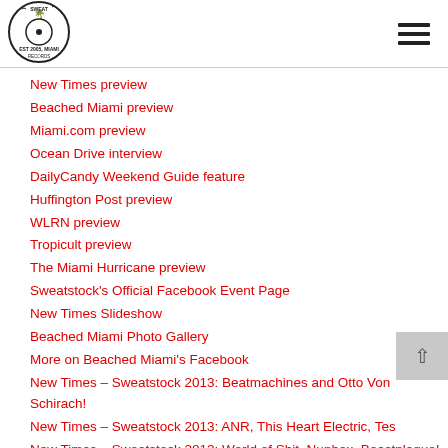[Figure (logo): Sweat Records logo — circular emblem with palm trees, record disc, EST 2005 MIAMI text]
New Times preview
Beached Miami preview
Miami.com preview
Ocean Drive interview
DailyCandy Weekend Guide feature
Huffington Post preview
WLRN preview
Tropicult preview
The Miami Hurricane preview
Sweatstock's Official Facebook Event Page
New Times Slideshow
Beached Miami Photo Gallery
More on Beached Miami's Facebook
New Times – Sweatstock 2013: Beatmachines and Otto Von Schirach!
New Times – Sweatstock 2013: ANR, This Heart Electric, Tes…
New Times – Sweatstock 2013: World of Shit, Nunhex, Beastplague!